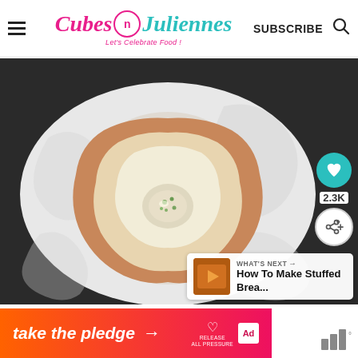Cubes n Juliennes - Let's Celebrate Food! | SUBSCRIBE
[Figure (photo): A slice of white bread with a small indentation in the center containing a cheesy, herb-filled filling, placed on white crinkled parchment paper. Top-down view.]
2.3K
WHAT'S NEXT → How To Make Stuffed Brea...
[Figure (infographic): Orange-to-pink gradient advertisement banner reading 'take the pledge →' with RELEASE logo and ad tag]